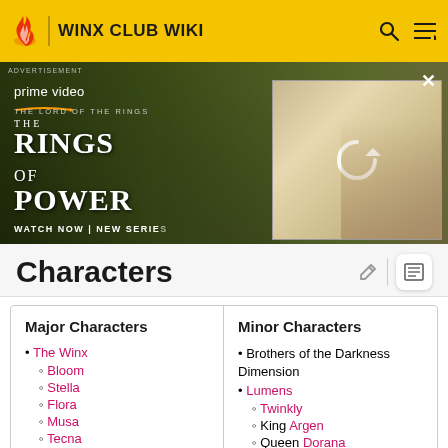WINX CLUB WIKI
[Figure (screenshot): Amazon Prime Video advertisement for The Lord of the Rings: The Rings of Power series. Left panel shows dark fantasy landscape with two characters. Right panel shows a blonde woman with a reload/refresh icon overlay. Text: ADVERTISEMENT, prime video, THE LORD OF THE RINGS, THE RINGS OF POWER, WATCH NOW | NEW SERIES. Close button X in top right.]
Characters
| Major Characters | Minor Characters |
| --- | --- |
| The Winx | Brothers of the Darkness Dimension |
| Bloom | Lumens |
| Stella | Twinkly |
| Flora | King Argen |
| Musa | Queen Dorana |
| Tecna |  |